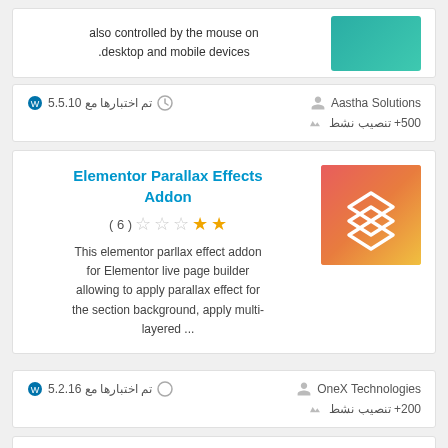also controlled by the mouse on desktop and mobile devices.
Aastha Solutions | 500+ تنصیب نشط | تم اختبارها مع 5.5.10
Elementor Parallax Effects Addon
( 6 ) ★★★★★ (2 full stars out of 5)
This elementor parllax effect addon for Elementor live page builder allowing to apply parallax effect for the section background, apply multi-layered ...
OneX Technologies | 200+ تنصیب نشط | تم اختبارها مع 5.2.16
Parallax Slider Block